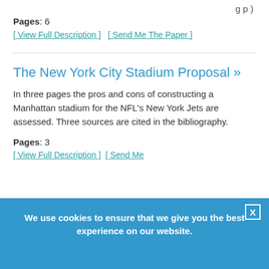Pages: 6
[ View Full Description ]   [ Send Me The Paper ]
The New York City Stadium Proposal »
In three pages the pros and cons of constructing a Manhattan stadium for the NFL's New York Jets are assessed. Three sources are cited in the bibliography.
Pages: 3
[ View Full Description ]   [ Send Me
We use cookies to ensure that we give you the best experience on our website.